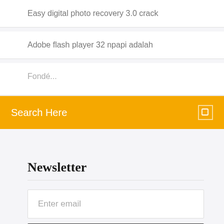Easy digital photo recovery 3.0 crack
Adobe flash player 32 npapi adalah
Fondé...
Search Here
Newsletter
Enter email
Subscribe